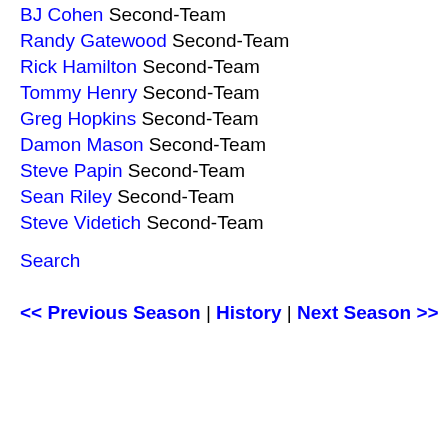BJ Cohen Second-Team
Randy Gatewood Second-Team
Rick Hamilton Second-Team
Tommy Henry Second-Team
Greg Hopkins Second-Team
Damon Mason Second-Team
Steve Papin Second-Team
Sean Riley Second-Team
Steve Videtich Second-Team
Search
<< Previous Season | History | Next Season >>